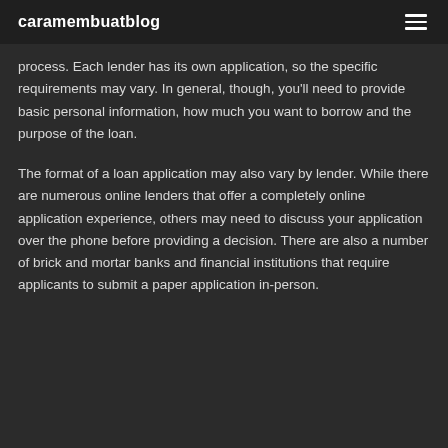caramembuatblog
process. Each lender has its own application, so the specific requirements may vary. In general, though, you'll need to provide basic personal information, how much you want to borrow and the purpose of the loan.
The format of a loan application may also vary by lender. While there are numerous online lenders that offer a completely online application experience, others may need to discuss your application over the phone before providing a decision. There are also a number of brick and mortar banks and financial institutions that require applicants to submit a paper application in-person.